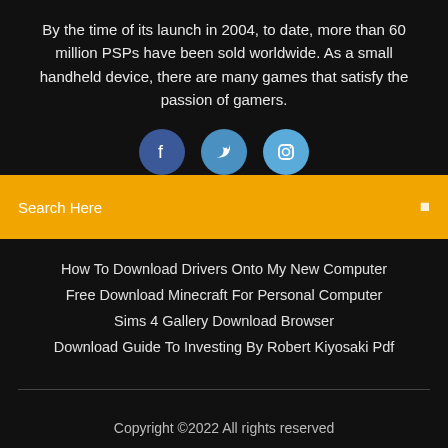By the time of its launch in 2004, to date, more than 60 million PSPs have been sold worldwide. As a small handheld device, there are many games that satisfy the passion of gamers.
[Figure (infographic): Three social media icons: Facebook (dark blue circle with f), Twitter (medium blue circle with bird), Instagram (light blue circle with camera icon)]
Search Here
How To Download Drivers Onto My New Computer
Free Download Minecraft For Personal Computer
Sims 4 Gallery Download Browser
Download Guide To Investing By Robert Kiyosaki Pdf
Copyright ©2022 All rights reserved